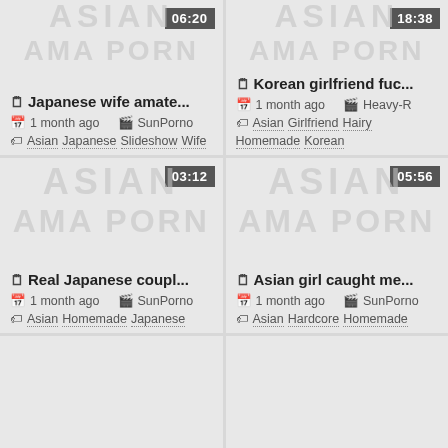[Figure (screenshot): Video thumbnail placeholder top-left with watermark ASIAN AMA PORN, duration 06:20]
📄 Japanese wife amate...
1 month ago  SunPorno
Asian  Japanese  Slideshow  Wife
[Figure (screenshot): Video thumbnail placeholder top-right with watermark ASIAN AMA PORN, duration 18:38]
📄 Korean girlfriend fuc...
1 month ago  Heavy-R
Asian  Girlfriend  Hairy  Homemade  Korean
[Figure (screenshot): Video thumbnail placeholder bottom-left with watermark ASIAN AMA PORN, duration 03:12]
📄 Real Japanese coupl...
1 month ago  SunPorno
Asian  Homemade  Japanese
[Figure (screenshot): Video thumbnail placeholder bottom-right with watermark ASIAN AMA PORN, duration 05:56]
📄 Asian girl caught me...
1 month ago  SunPorno
Asian  Hardcore  Homemade